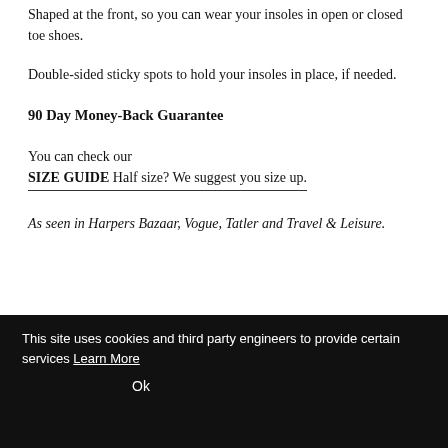Shaped at the front, so you can wear your insoles in open or closed toe shoes.
Double-sided sticky spots to hold your insoles in place, if needed.
90 Day Money-Back Guarantee
You can check our SIZE GUIDE Half size? We suggest you size up.
As seen in Harpers Bazaar, Vogue, Tatler and Travel & Leisure.
This site uses cookies and third party engineers to provide certain services Learn More
Ok